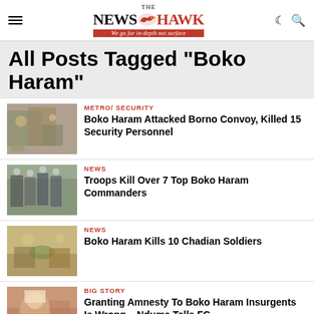THE NEWS HAWK — We go for in-depth not surface
All Posts Tagged "Boko Haram"
METRO/ SECURITY | Boko Haram Attacked Borno Convoy, Killed 15 Security Personnel
NEWS | Troops Kill Over 7 Top Boko Haram Commanders
NEWS | Boko Haram Kills 10 Chadian Soldiers
BIG STORY | Granting Amnesty To Boko Haram Insurgents Is Wrong – Ndume Tells FG